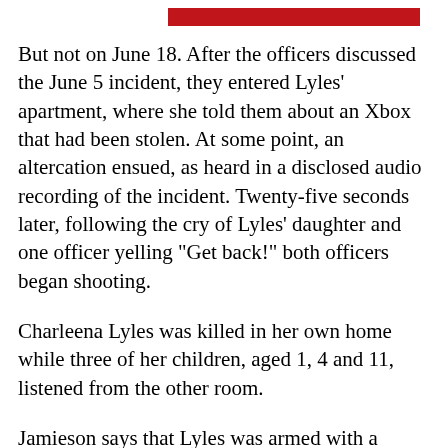[Figure (other): Red horizontal bar decoration at top of page]
But not on June 18. After the officers discussed the June 5 incident, they entered Lyles' apartment, where she told them about an Xbox that had been stolen. At some point, an altercation ensued, as heard in a disclosed audio recording of the incident. Twenty-five seconds later, following the cry of Lyles' daughter and one officer yelling "Get back!" both officers began shooting.
Charleena Lyles was killed in her own home while three of her children, aged 1, 4 and 11, listened from the other room.
Jamieson says that Lyles was armed with a knife. If this is true, the officers had every opportunity to deal with Lyles peacefully. They knew all about the similar June 5 incident, in which officers said Lyles threatened them in her apartment with scissors, but was talked down without any violence. According to a